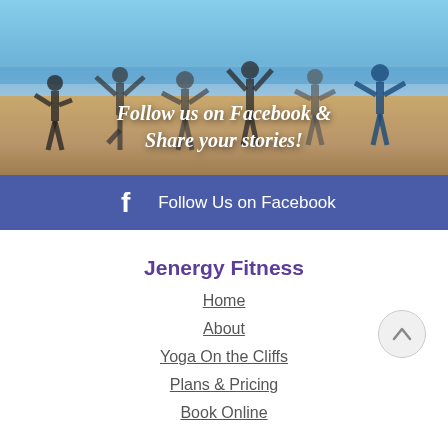[Figure (photo): Group of people doing yoga poses on a beach with blue sky and ocean in the background. Overlaid white italic text reads: Follow us on Facebook & Share your stories!]
Follow Us on Facebook
Jenergy Fitness
Home
About
Yoga On the Cliffs
Plans & Pricing
Book Online